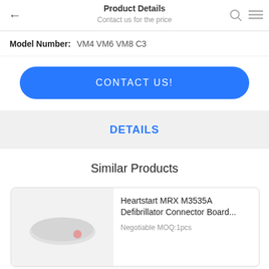Product Details | Contact us for the price
Model Number: VM4 VM6 VM8 C3
CONTACT US!
DETAILS
Similar Products
Heartstart MRX M3535A Defibrillator Connector Board... Negotiable MOQ:1pcs